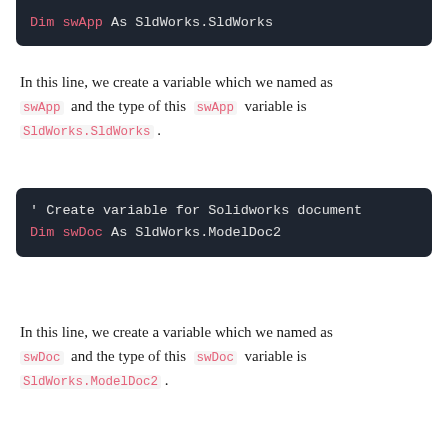[Figure (screenshot): Code block showing: Dim swApp As SldWorks.SldWorks]
In this line, we create a variable which we named as swApp and the type of this swApp variable is SldWorks.SldWorks.
[Figure (screenshot): Code block showing: ' Create variable for Solidworks document
Dim swDoc As SldWorks.ModelDoc2]
In this line, we create a variable which we named as swDoc and the type of this swDoc variable is SldWorks.ModelDoc2.
[Figure (screenshot): Code block showing: ' Boolean Variable
Dim BoolStatus As Boolean]
In this line, we create a variable named BoolStatus as